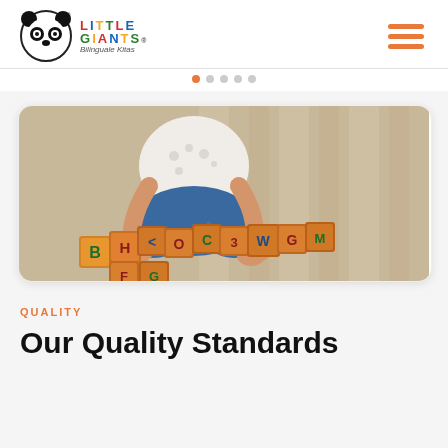[Figure (logo): Little Giants Bilinguale Kitas logo with panda bear icon and colorful text]
[Figure (other): Hamburger menu icon with three orange horizontal lines]
[Figure (other): Navigation dot indicator, orange dot active]
[Figure (photo): Child sitting cross-legged on a woven rug playing with colorful wooden alphabet blocks]
QUALITY
Our Quality Standards